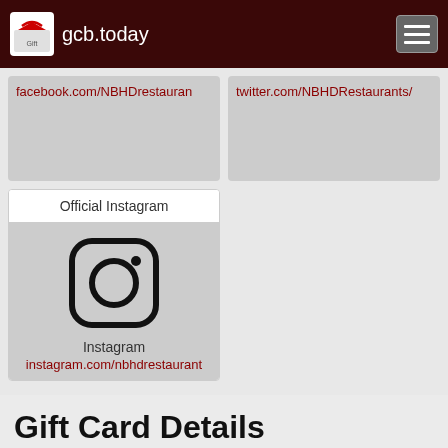gcb.today
facebook.com/NBHDrestauran
twitter.com/NBHDRestaurants/
[Figure (screenshot): Official Instagram card with Instagram icon and link: instagram.com/nbhdrestaurant]
Gift Card Details
Neighbourhood Restaurant & Bar gift card or gift certificate links. Convenient way to manage balance on the fly in GCB mobile app